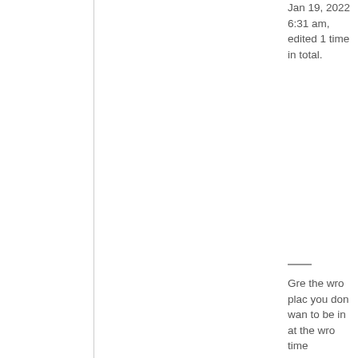Jan 19, 2022 6:31 am, edited 1 time in total.
Gre the wro plac you don wan to be in at the wro time
On my way to